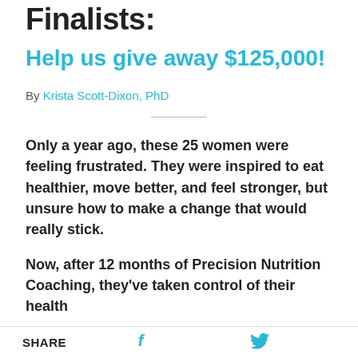Finalists:
Help us give away $125,000!
By Krista Scott-Dixon, PhD
Only a year ago, these 25 women were feeling frustrated. They were inspired to eat healthier, move better, and feel stronger, but unsure how to make a change that would really stick.
Now, after 12 months of Precision Nutrition Coaching, they've taken control of their health
SHARE